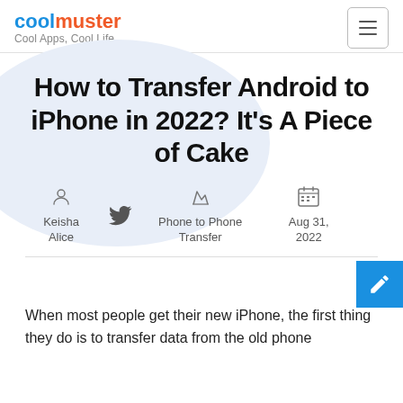CoolMuster Cool Apps, Cool Life
How to Transfer Android to iPhone in 2022? It's A Piece of Cake
Keisha Alice | Phone to Phone Transfer | Aug 31, 2022
When most people get their new iPhone, the first thing they do is to transfer data from the old phone